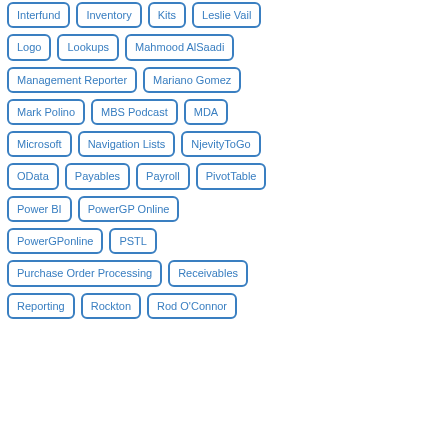Interfund
Inventory
Kits
Leslie Vail
Logo
Lookups
Mahmood AlSaadi
Management Reporter
Mariano Gomez
Mark Polino
MBS Podcast
MDA
Microsoft
Navigation Lists
NjevityToGo
OData
Payables
Payroll
PivotTable
Power BI
PowerGP Online
PowerGPonline
PSTL
Purchase Order Processing
Receivables
Reporting
Rockton
Rod O'Connor